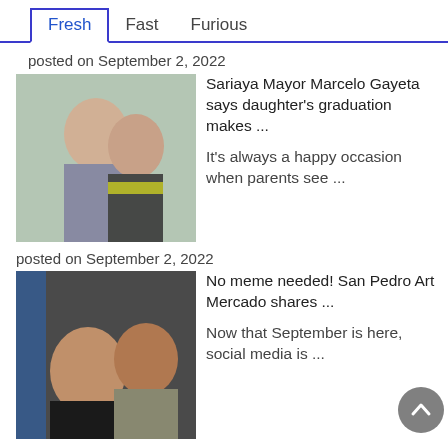Fresh | Fast | Furious
posted on September 2, 2022
[Figure (photo): Two women smiling, one in graduation gown with yellow sash, the other in a patterned blouse]
Sariaya Mayor Marcelo Gayeta says daughter's graduation makes ...
It's always a happy occasion when parents see ...
posted on September 2, 2022
[Figure (photo): An elderly man and a woman smiling at a restaurant or social gathering]
No meme needed! San Pedro Art Mercado shares ...
Now that September is here, social media is ...
posted on September 2, 2022
[Figure (photo): Partial view of a person, clipped at bottom of page]